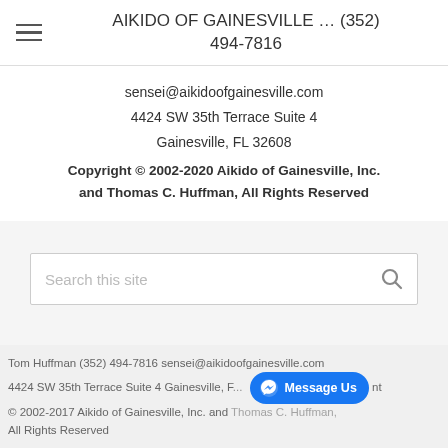AIKIDO OF GAINESVILLE … (352) 494-7816
sensei@aikidoofgainesville.com
4424 SW 35th Terrace Suite 4
Gainesville, FL 32608
Copyright © 2002-2020 Aikido of Gainesville, Inc. and Thomas C. Huffman, All Rights Reserved
[Figure (screenshot): Search box with placeholder text 'Search this site' and a magnifying glass icon on the right]
Tom Huffman (352) 494-7816 sensei@aikidoofgainesville.com 4424 SW 35th Terrace Suite 4 Gainesville, FL ... nt © 2002-2017 Aikido of Gainesville, Inc. and Thomas C. Huffman, All Rights Reserved